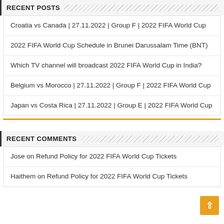RECENT POSTS
Croatia vs Canada | 27.11.2022 | Group F | 2022 FIFA World Cup
2022 FIFA World Cup Schedule in Brunei Darussalam Time (BNT)
Which TV channel will broadcast 2022 FIFA World Cup in India?
Belgium vs Morocco | 27.11.2022 | Group F | 2022 FIFA World Cup
Japan vs Costa Rica | 27.11.2022 | Group E | 2022 FIFA World Cup
RECENT COMMENTS
Jose on Refund Policy for 2022 FIFA World Cup Tickets
Haithem on Refund Policy for 2022 FIFA World Cup Tickets